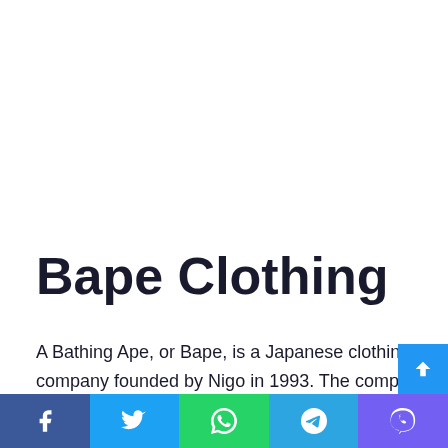Bape Clothing
A Bathing Ape, or Bape, is a Japanese clothing company founded by Nigo in 1993. The company produces and distributes clothing, including T-shirts, sweatshirts, jackets a